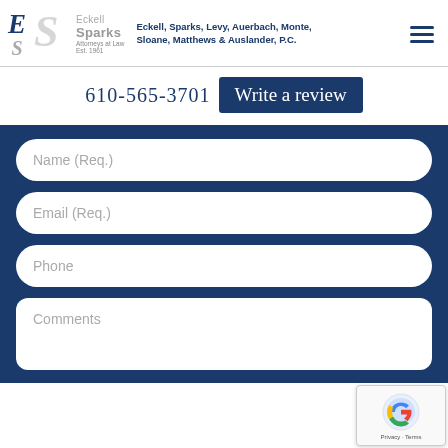Eckell, Sparks, Levy, Auerbach, Monte, Sloane, Matthews & Auslander, P.C. — Attorneys at Law Est. 1961
610-565-3701
Write a review
Name (Req.)
Email (Req.)
Phone
Comments